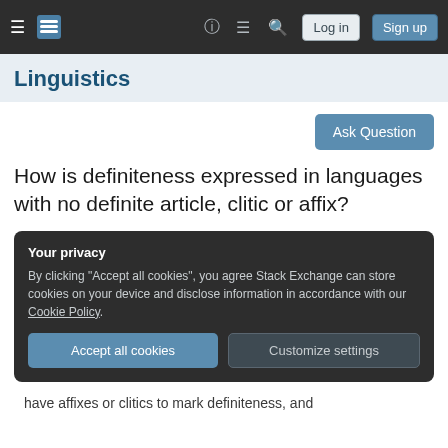Linguistics — Stack Exchange navigation bar with Log in and Sign up buttons
Linguistics
[Figure (screenshot): Ask Question button]
How is definiteness expressed in languages with no definite article, clitic or affix?
Your privacy
By clicking "Accept all cookies", you agree Stack Exchange can store cookies on your device and disclose information in accordance with our Cookie Policy.
Accept all cookies  Customize settings
have affixes or clitics to mark definiteness, and